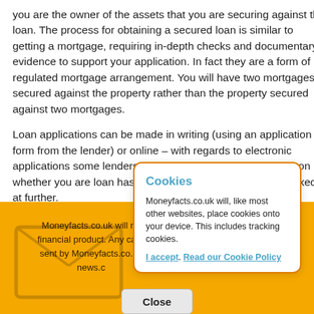you are the owner of the assets that you are securing against the loan. The process for obtaining a secured loan is similar to getting a mortgage, requiring in-depth checks and documentary evidence to support your application. In fact they are a form of regulated mortgage arrangement. You will have two mortgages secured against the property rather than the property secured against two mortgages.
Loan applications can be made in writing (using an application form from the lender) or online – with regards to electronic applications some lenders can give you an instant decision on whether you are loan has been accepted or needs to be looked at further.
Moneyfacts.co.uk will ne... financial product. Any calls... sent by Moneyfacts.co.uk... news.c...
[Figure (screenshot): Cookie consent popup with orange border on white background. Title: 'Cookies' in blue. Body text: 'Moneyfacts.co.uk will, like most other websites, place cookies onto your device. This includes tracking cookies.' Links: 'I accept' and 'Read our Cookie Policy'. Below: a 'Close' button.]